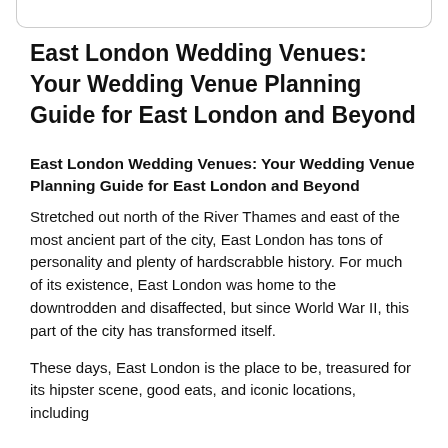East London Wedding Venues: Your Wedding Venue Planning Guide for East London and Beyond
East London Wedding Venues: Your Wedding Venue Planning Guide for East London and Beyond
Stretched out north of the River Thames and east of the most ancient part of the city, East London has tons of personality and plenty of hardscrabble history. For much of its existence, East London was home to the downtrodden and disaffected, but since World War II, this part of the city has transformed itself.
These days, East London is the place to be, treasured for its hipster scene, good eats, and iconic locations, including